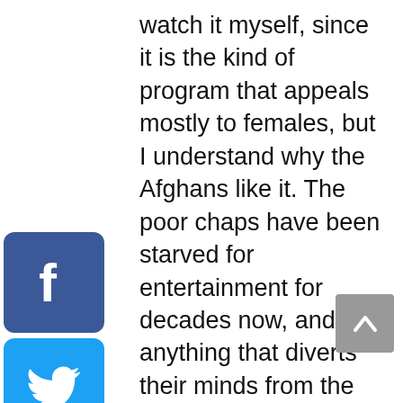watch it myself, since it is the kind of program that appeals mostly to females, but I understand why the Afghans like it. The poor chaps have been starved for entertainment for decades now, and anything that diverts their minds from the mass starvation and killings in their country is a welcome thing. So, every evening when the program is telecast, the streets are deserted. But, as expected, the mullahs have stepped in and asked the authorities to ban the telecasting of the play on the grounds that there is a real danger of Afghans becoming idol worshippers! So the poor Afghans will now have to buy dish antennas or DVDs to know what happens to the daughter-in-law and whether the mother-in-law succeeds in taming her. I say, good luck
[Figure (logo): Facebook share button icon - blue rounded square with white F logo]
[Figure (logo): Twitter share button icon - light blue rounded square with white bird logo]
[Figure (logo): Email share button icon - blue rounded square with white envelope logo]
[Figure (logo): Reddit share button icon - orange rounded square with white Reddit alien logo]
[Figure (logo): LinkedIn share button icon - blue rounded square with white 'in' logo]
[Figure (logo): WhatsApp share button icon - green rounded square with white phone/WhatsApp logo]
[Figure (other): Scroll to top button - grey square with upward chevron arrow]